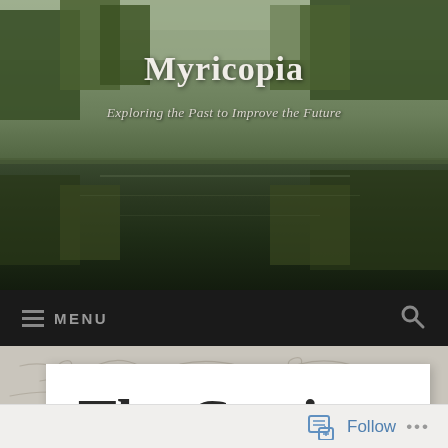[Figure (photo): Hero banner showing a forest lake scene with trees reflected in still water, dark moody tones]
Myricopia
Exploring the Past to Improve the Future
≡ MENU
[Figure (photo): Background showing faded handwritten cursive script on aged paper]
The Cutting School
Follow ...